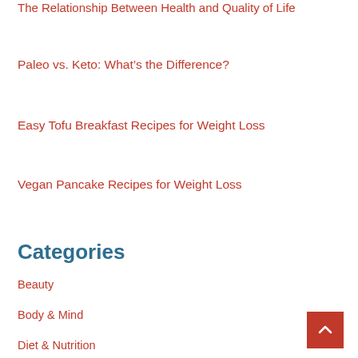The Relationship Between Health and Quality of Life
Paleo vs. Keto: What’s the Difference?
Easy Tofu Breakfast Recipes for Weight Loss
Vegan Pancake Recipes for Weight Loss
Categories
Beauty
Body & Mind
Diet & Nutrition